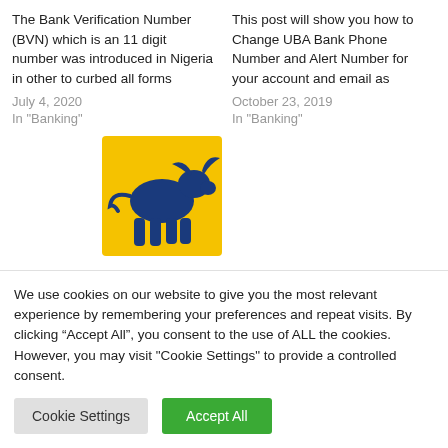The Bank Verification Number (BVN) which is an 11 digit number was introduced in Nigeria in other to curbed all forms
July 4, 2020
In "Banking"
This post will show you how to Change UBA Bank Phone Number and Alert Number for your account and email as
October 23, 2019
In "Banking"
[Figure (logo): FirstBank logo with golden/yellow square containing blue bull figure and italic dark blue 'FirstBank' text below]
How To Change First...
We use cookies on our website to give you the most relevant experience by remembering your preferences and repeat visits. By clicking “Accept All”, you consent to the use of ALL the cookies. However, you may visit "Cookie Settings" to provide a controlled consent.
Cookie Settings
Accept All